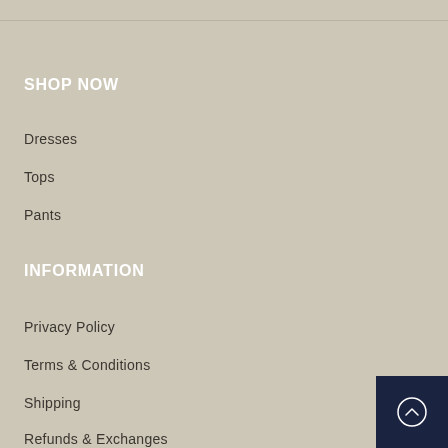SHOP NOW
Dresses
Tops
Pants
INFORMATION
Privacy Policy
Terms & Conditions
Shipping
Refunds & Exchanges